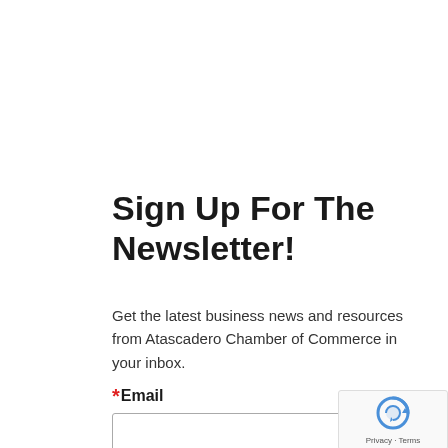Sign Up For The Newsletter!
Get the latest business news and resources from Atascadero Chamber of Commerce in your inbox.
*Email
[Figure (other): reCAPTCHA badge with spinning logo and Privacy · Terms text]